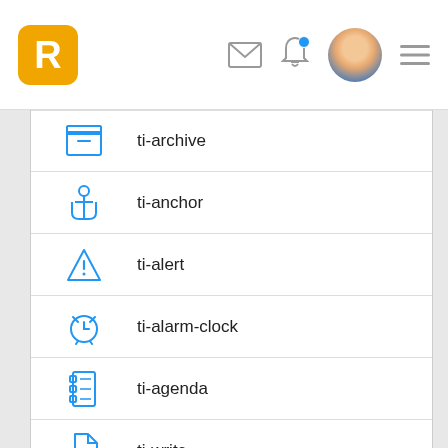R [logo] | mail icon | bell icon | avatar | menu icon
ti-archive
ti-anchor
ti-alert
ti-alarm-clock
ti-agenda
ti-write
ti-wallet